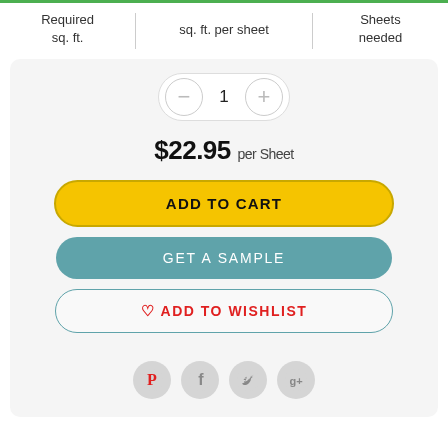| Required sq. ft. | sq. ft. per sheet | Sheets needed |
| --- | --- | --- |
$22.95 per Sheet
ADD TO CART
GET A SAMPLE
♡ ADD TO WISHLIST
[Figure (infographic): Social media share icons: Pinterest, Facebook, Twitter, Google+]